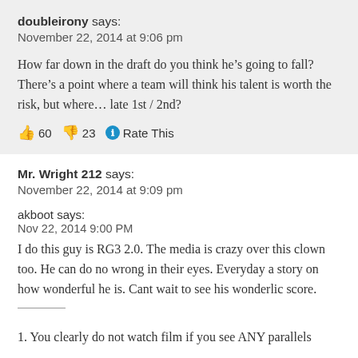doubleirony says:
November 22, 2014 at 9:06 pm
How far down in the draft do you think he’s going to fall? There’s a point where a team will think his talent is worth the risk, but where… late 1st / 2nd?
👍 60  👎 23  ℹ Rate This
Mr. Wright 212 says:
November 22, 2014 at 9:09 pm
akboot says:
Nov 22, 2014 9:00 PM
I do this guy is RG3 2.0. The media is crazy over this clown too. He can do no wrong in their eyes. Everyday a story on how wonderful he is. Cant wait to see his wonderlic score.
1. You clearly do not watch film if you see ANY parallels